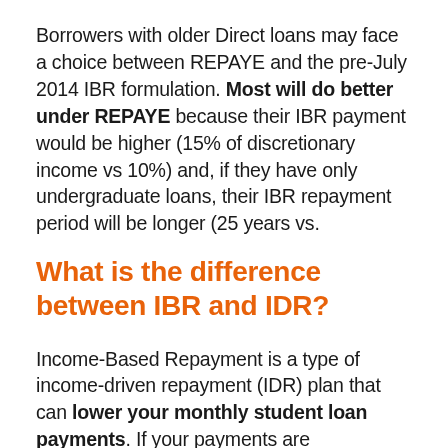Borrowers with older Direct loans may face a choice between REPAYE and the pre-July 2014 IBR formulation. Most will do better under REPAYE because their IBR payment would be higher (15% of discretionary income vs 10%) and, if they have only undergraduate loans, their IBR repayment period will be longer (25 years vs.
What is the difference between IBR and IDR?
Income-Based Repayment is a type of income-driven repayment (IDR) plan that can lower your monthly student loan payments. If your payments are unaffordable due to a high student loan balance compared to your current income,